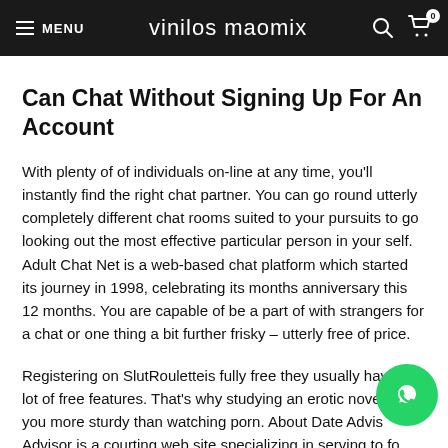MENU | vinilos maomix
Can Chat Without Signing Up For An Account
With plenty of of individuals on-line at any time, you'll instantly find the right chat partner. You can go round utterly completely different chat rooms suited to your pursuits to go looking out the most effective particular person in your self. Adult Chat Net is a web-based chat platform which started its journey in 1998, celebrating its months anniversary this 12 months. You are capable of be a part of with strangers for a chat or one thing a bit further frisky – utterly free of price.
Registering on SlutRouletteis fully free they usually have a lot of free features. That's why studying an erotic novel can you more sturdy than watching porn. About Date Advisor is a courting web site specializing in serving to fo...
[Figure (logo): WhatsApp floating button, green circle with white phone handset icon]